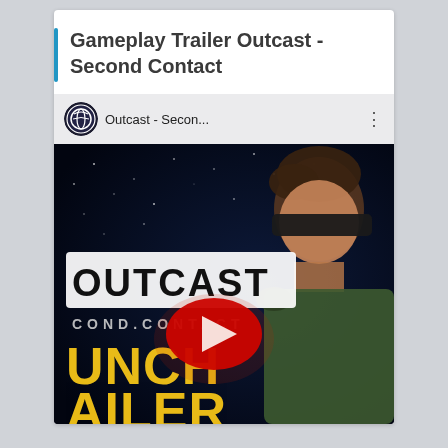Gameplay Trailer Outcast - Second Contact
[Figure (screenshot): YouTube video thumbnail/embed for 'Outcast - Second Contact' gameplay launch trailer. Shows YouTube player bar with channel icon and name 'Outcast - Secon...' with three-dot menu, and below it a game screenshot with dark space background, text 'OUTCAST' and 'COND.CONTACT' and 'UNCH' and 'AILER' in yellow letters partially visible, a red YouTube play button in the center, and a male character wearing a visor on the right side.]